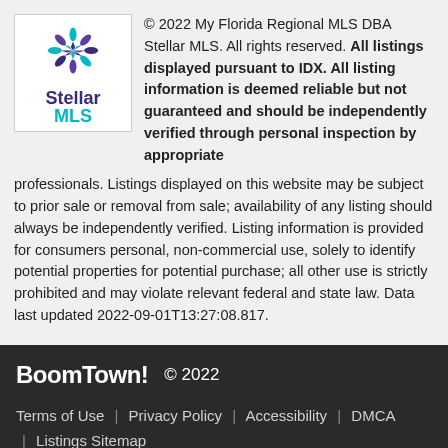[Figure (logo): Stellar MLS logo — snowflake/star design in purple, teal, and blue above text 'Stellar MLS']
© 2022 My Florida Regional MLS DBA Stellar MLS. All rights reserved. All listings displayed pursuant to IDX. All listing information is deemed reliable but not guaranteed and should be independently verified through personal inspection by appropriate professionals. Listings displayed on this website may be subject to prior sale or removal from sale; availability of any listing should always be independently verified. Listing information is provided for consumers personal, non-commercial use, solely to identify potential properties for potential purchase; all other use is strictly prohibited and may violate relevant federal and state law. Data last updated 2022-09-01T13:27:08.817.
BoomTown! © 2022
Terms of Use | Privacy Policy | Accessibility | DMCA | Listings Sitemap
Take a Tour
Ask A Question